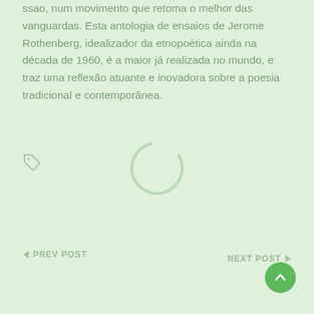ssao, num movimento que retoma o melhor das vanguardas. Esta antologia de ensaios de Jerome Rothenberg, idealizador da etnopoética ainda na década de 1960, é a maior já realizada no mundo, e traz uma reflexão atuante e inovadora sobre a poesia tradicional e contemporânea.
[Figure (other): Tag icon (price tag / label icon) in muted green color]
[Figure (other): Loading spinner - circular arc indicating content loading]
◄ PREV POST
NEXT POST ►
[Figure (other): Scroll to top button - green circle with upward arrow]